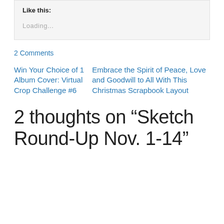Like this:
Loading...
2 Comments
Win Your Choice of 1 Album Cover: Virtual Crop Challenge #6
Embrace the Spirit of Peace, Love and Goodwill to All With This Christmas Scrapbook Layout
2 thoughts on “Sketch Round-Up Nov. 1-14”